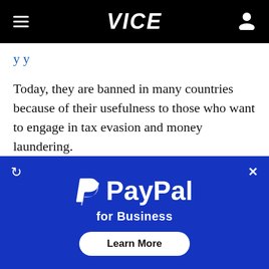VICE
Today, they are banned in many countries because of their usefulness to those who want to engage in tax evasion and money laundering.
In a deal struck on May 2, 1997, Simsbury International bought the most valuable Ganz paintings for $168 million from Spink & Son, the London auction house then owned by Christie's...
[Figure (screenshot): PayPal for Business advertisement overlay with white PayPal logo, tagline 'for Business', and a 'Learn More' button on a blue background.]